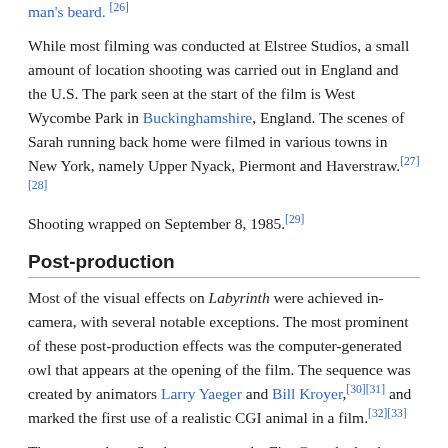man's beard. [26]
While most filming was conducted at Elstree Studios, a small amount of location shooting was carried out in England and the U.S. The park seen at the start of the film is West Wycombe Park in Buckinghamshire, England. The scenes of Sarah running back home were filmed in various towns in New York, namely Upper Nyack, Piermont and Haverstraw.[27][28]
Shooting wrapped on September 8, 1985.[29]
Post-production
Most of the visual effects on Labyrinth were achieved in-camera, with several notable exceptions. The most prominent of these post-production effects was the computer-generated owl that appears at the opening of the film. The sequence was created by animators Larry Yaeger and Bill Kroyer,[30][31] and marked the first use of a realistic CGI animal in a film.[32][33]
The scene where Sarah encounters the Fire Gang had to be altered in post-production as it had been filmed against black velvet cloth, to disguise the puppeteers, and a new forest background was added behind it. However, problems with the composition of